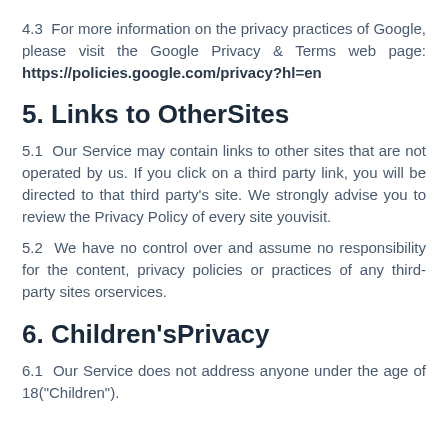4.3  For more information on the privacy practices of Google, please visit the Google Privacy & Terms web page: https://policies.google.com/privacy?hl=en
5. Links to OtherSites
5.1  Our Service may contain links to other sites that are not operated by us. If you click on a third party link, you will be directed to that third party's site. We strongly advise you to review the Privacy Policy of every site youvisit.
5.2  We have no control over and assume no responsibility for the content, privacy policies or practices of any third-party sites orservices.
6. Children'sPrivacy
6.1  Our Service does not address anyone under the age of 18("Children").